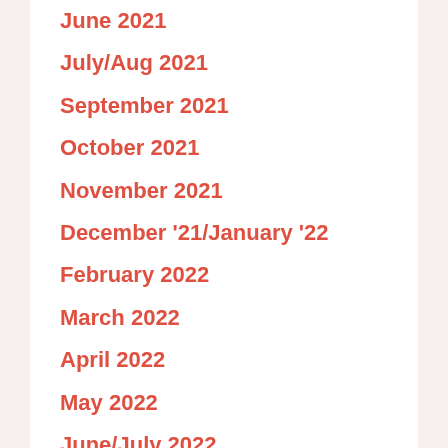June 2021
July/Aug 2021
September 2021
October 2021
November 2021
December '21/January '22
February 2022
March 2022
April 2022
May 2022
June/July 2022
August 2022
September 2022